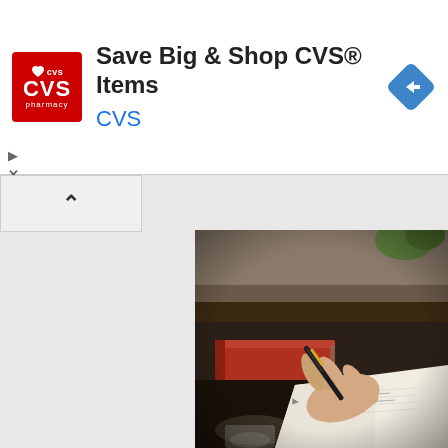[Figure (other): CVS Pharmacy advertisement banner with red CVS logo, text 'Save Big & Shop CVS® Items', 'CVS' in blue, and a blue navigation diamond icon on the right]
[Figure (other): UI scroll-up/collapse button box with upward chevron arrow]
[Figure (photo): Photo of a person's hand writing in an open notebook with a black pen, with a red book/folder on a dark table in the background, soft bokeh lighting]